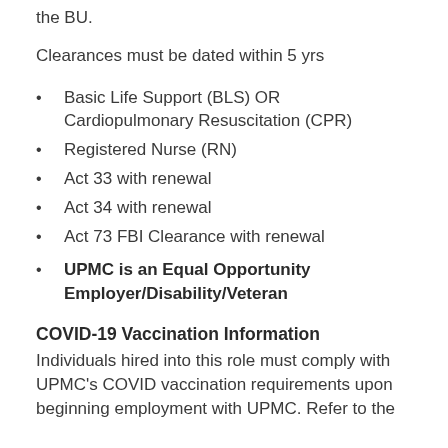the BU.
Clearances must be dated within 5 yrs
Basic Life Support (BLS) OR Cardiopulmonary Resuscitation (CPR)
Registered Nurse (RN)
Act 33 with renewal
Act 34 with renewal
Act 73 FBI Clearance with renewal
UPMC is an Equal Opportunity Employer/Disability/Veteran
COVID-19 Vaccination Information
Individuals hired into this role must comply with UPMC's COVID vaccination requirements upon beginning employment with UPMC. Refer to the